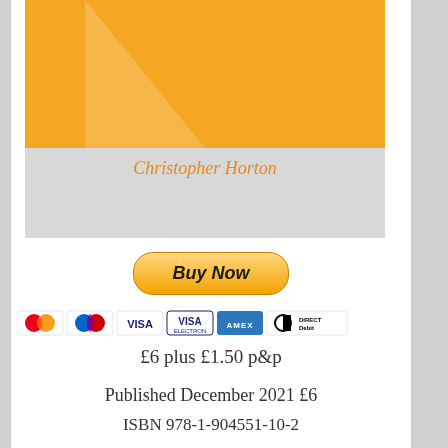[Figure (illustration): Book cover for 'Perfect Timing' by Christopher Horton. Upper portion is orange with a diagonal lighter stripe. Lower portion is gray. Title 'Perfect Timing' in bold dark text, author 'Christopher Horton' in orange italic text.]
[Figure (other): Buy Now button with PayPal-style orange gradient and payment card logos including Mastercard, Maestro, VISA, American Express, and Direct Debit.]
£6 plus £1.50 p&p
Published December 2021 £6
ISBN 978-1-904551-10-2